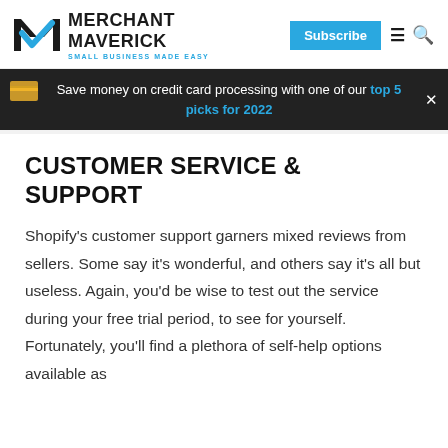MERCHANT MAVERICK — SMALL BUSINESS MADE EASY
Save money on credit card processing with one of our top 5 picks for 2022
CUSTOMER SERVICE & SUPPORT
Shopify's customer support garners mixed reviews from sellers. Some say it's wonderful, and others say it's all but useless. Again, you'd be wise to test out the service during your free trial period, to see for yourself. Fortunately, you'll find a plethora of self-help options available as